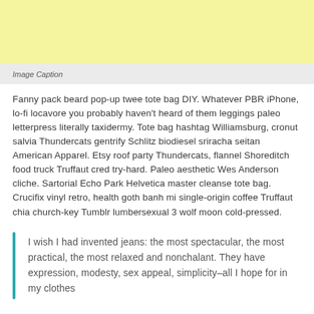[Figure (other): Yellow/cream colored image placeholder area]
Image Caption
Fanny pack beard pop-up twee tote bag DIY. Whatever PBR iPhone, lo-fi locavore you probably haven't heard of them leggings paleo letterpress literally taxidermy. Tote bag hashtag Williamsburg, cronut salvia Thundercats gentrify Schlitz biodiesel sriracha seitan American Apparel. Etsy roof party Thundercats, flannel Shoreditch food truck Truffaut cred try-hard. Paleo aesthetic Wes Anderson cliche. Sartorial Echo Park Helvetica master cleanse tote bag. Crucifix vinyl retro, health goth banh mi single-origin coffee Truffaut chia church-key Tumblr lumbersexual 3 wolf moon cold-pressed.
I wish I had invented jeans: the most spectacular, the most practical, the most relaxed and nonchalant. They have expression, modesty, sex appeal, simplicity–all I hope for in my clothes